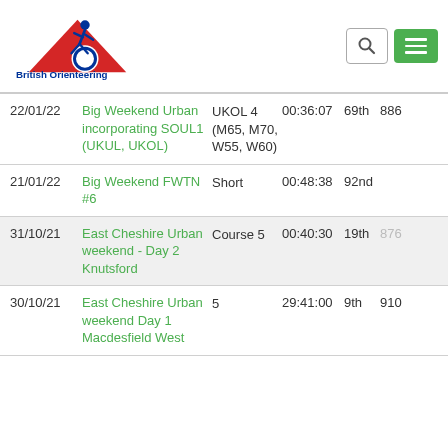[Figure (logo): British Orienteering logo with running figure graphic and text 'British Orienteering']
| Date | Event | Course | Time | Position | Points |
| --- | --- | --- | --- | --- | --- |
| 22/01/22 | Big Weekend Urban incorporating SOUL1 (UKUL, UKOL) | UKOL 4 (M65, M70, W55, W60) | 00:36:07 | 69th | 886 |
| 21/01/22 | Big Weekend FWTN #6 | Short | 00:48:38 | 92nd |  |
| 31/10/21 | East Cheshire Urban weekend - Day 2 Knutsford | Course 5 | 00:40:30 | 19th | 876 |
| 30/10/21 | East Cheshire Urban weekend Day 1 Macdesfield West | 5 | 29:41:00 | 9th | 910 |